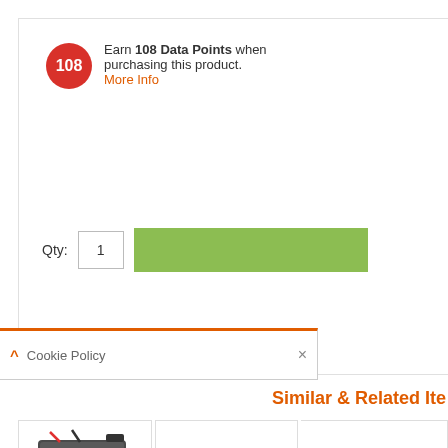Earn 108 Data Points when purchasing this product.
More Info
Qty: 1
Similar & Related Ite
[Figure (photo): APC RBC48 replacement battery cartridge product photo]
Qty: 1
APC RBC48
£111.08 Ex VAT
Qty: 1
APC RBC34 Replacement Battery Cartridge
£259.36 Ex VAT
Qty: 1
APC RBC6 Replacement Battery
£198.15 Ex VAT
Cookie Policy